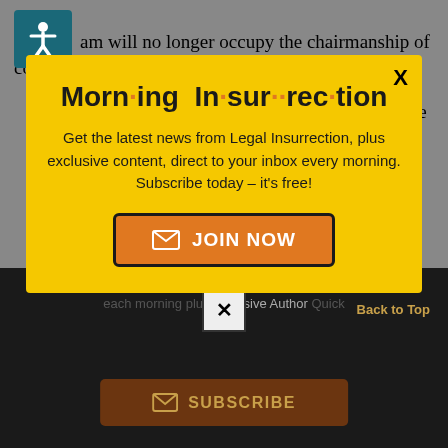am will no longer occupy the chairmanship of committee after the inauguration. No one knows if anything more will come from these transcripts or investigation.
[Figure (screenshot): Modal popup newsletter signup for 'Morning Insurrection' on yellow background with orange JOIN NOW button, overlaid on a webpage with dark bottom section showing SUBSCRIBE button]
Morn·ing In·sur·rec·tion
Get the latest news from Legal Insurrection, plus exclusive content, direct to your inbox every morning. Subscribe today – it's free!
JOIN NOW
each morning plus exclusive Author Quick
Back to Top
SUBSCRIBE